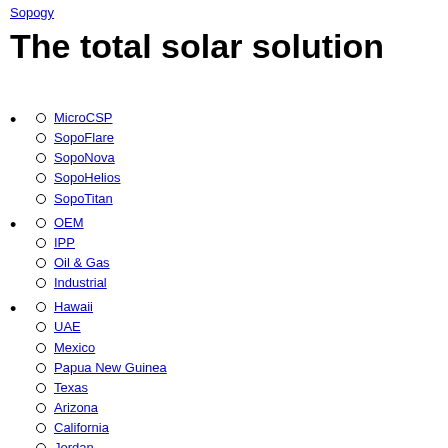Sopogy
The total solar solution
MicroCSP
SopoFlare
SopoNova
SopoHelios
SopoTitan
OEM
IPP
Oil & Gas
Industrial
Hawaii
UAE
Mexico
Papua New Guinea
Texas
Arizona
California
Jordan
Egypt
Japan